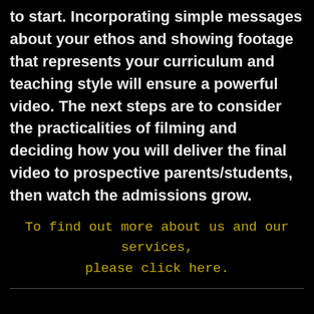to start. Incorporating simple messages about your ethos and showing footage that represents your curriculum and teaching style will ensure a powerful video. The next steps are to consider the practicalities of filming and deciding how you will deliver the final video to prospective parents/students, then watch the admissions grow.
To find out more about us and our services, please click here.